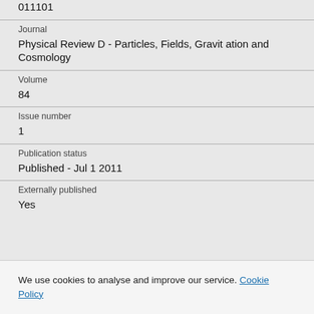011101
Journal
Physical Review D - Particles, Fields, Gravitation and Cosmology
Volume
84
Issue number
1
Publication status
Published - Jul 1 2011
Externally published
Yes
We use cookies to analyse and improve our service. Cookie Policy